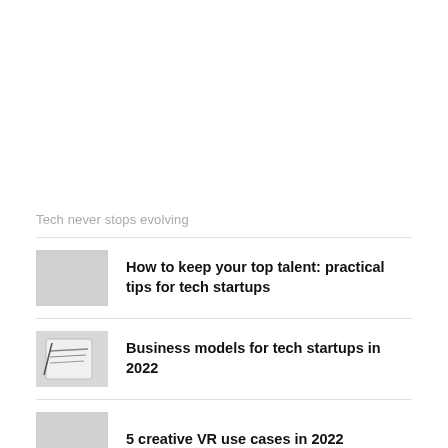Tech never stops evolving
How to keep your top talent: practical tips for tech startups
Business models for tech startups in 2022
5 creative VR use cases in 2022
VR in schools: how your school can use VR as a